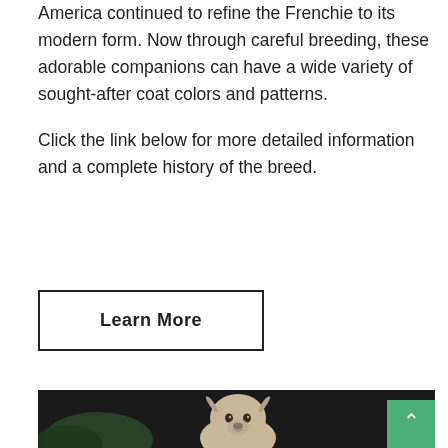America continued to refine the Frenchie to its modern form. Now through careful breeding, these adorable companions can have a wide variety of sought-after coat colors and patterns.
Click the link below for more detailed information and a complete history of the breed.
Learn More
[Figure (photo): Photo of a French Bulldog puppy with large upright ears, light-colored coat, sitting against a dark background with some green foliage.]